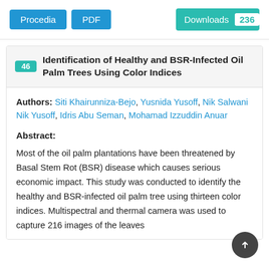[Figure (other): Two blue buttons labeled 'Procedia' and 'PDF', and a teal 'Downloads 236' badge on the right]
46 Identification of Healthy and BSR-Infected Oil Palm Trees Using Color Indices
Authors: Siti Khairunniza-Bejo, Yusnida Yusoff, Nik Salwani Nik Yusoff, Idris Abu Seman, Mohamad Izzuddin Anuar
Abstract:
Most of the oil palm plantations have been threatened by Basal Stem Rot (BSR) disease which causes serious economic impact. This study was conducted to identify the healthy and BSR-infected oil palm tree using thirteen color indices. Multispectral and thermal camera was used to capture 216 images of the leaves